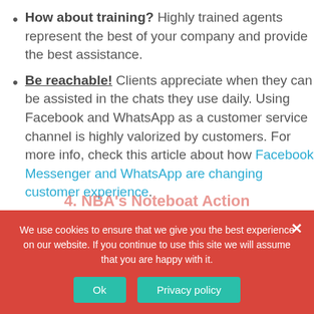How about training? Highly trained agents represent the best of your company and provide the best assistance.
Be reachable! Clients appreciate when they can be assisted in the chats they use daily. Using Facebook and WhatsApp as a customer service channel is highly valorized by customers. For more info, check this article about how Facebook Messenger and WhatsApp are changing customer experience.
4. NBA's Noteboat Action
We use cookies to ensure that we give you the best experience on our website. If you continue to use this site we will assume that you are happy with it.